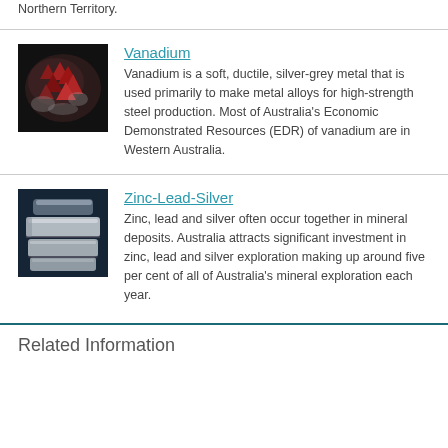Northern Territory.
[Figure (photo): Close-up photo of vanadium mineral specimen with reddish crystals on a dark background]
Vanadium
Vanadium is a soft, ductile, silver-grey metal that is used primarily to make metal alloys for high-strength steel production. Most of Australia's Economic Demonstrated Resources (EDR) of vanadium are in Western Australia.
[Figure (photo): Photo of zinc-lead-silver metal bars/ingots on a blue background]
Zinc-Lead-Silver
Zinc, lead and silver often occur together in mineral deposits. Australia attracts significant investment in zinc, lead and silver exploration making up around five per cent of all of Australia's mineral exploration each year.
Related Information